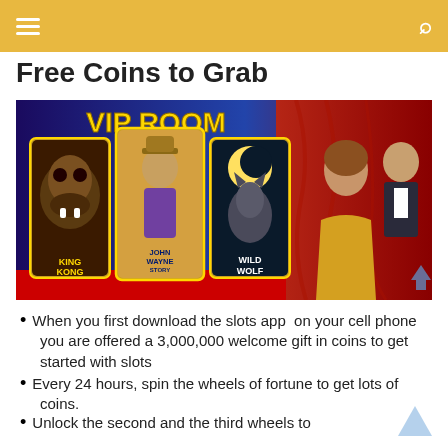≡  [hamburger menu]   [search icon]
Free Coins to Grab
[Figure (screenshot): Casino slots app promotional image showing VIP ROOM with slot game characters: King Kong, John Wayne Story, Wild Wolf, and two elegantly dressed people (man in tuxedo, woman in gold dress) in front of red curtain]
When you first download the slots app  on your cell phone you are offered a 3,000,000 welcome gift in coins to get started with slots
Every 24 hours, spin the wheels of fortune to get lots of coins.
Unlock the second and the third wheels to multiply your wins